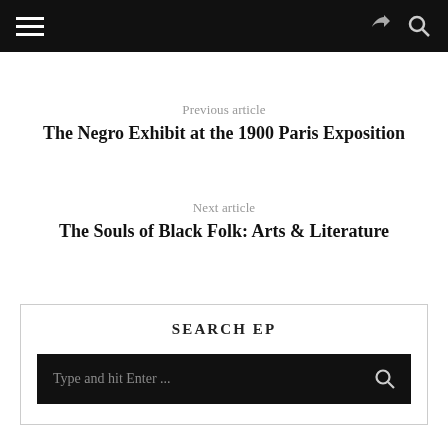Previous article
The Negro Exhibit at the 1900 Paris Exposition
Next article
The Souls of Black Folk: Arts & Literature
SEARCH EP
Type and hit Enter ...